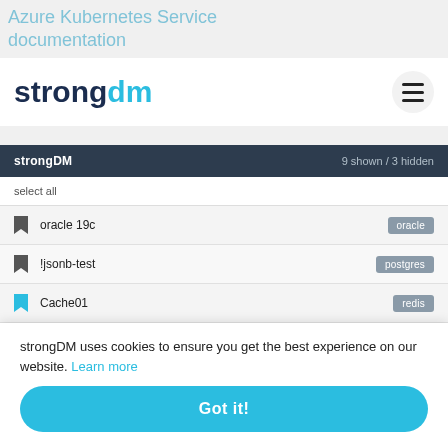Azure Kubernetes Service documentation
[Figure (screenshot): strongDM logo with dark blue 'strong' and cyan 'dm' text, and hamburger menu icon on the right]
[Figure (screenshot): strongDM resource list panel showing resources: oracle 19c (oracle), !jsonb-test (postgres), Cache01 (redis), CacheM01 (memcached), and a partially visible 5th row. Panel header shows 9 shown / 3 hidden.]
strongDM uses cookies to ensure you get the best experience on our website. Learn more
Got it!